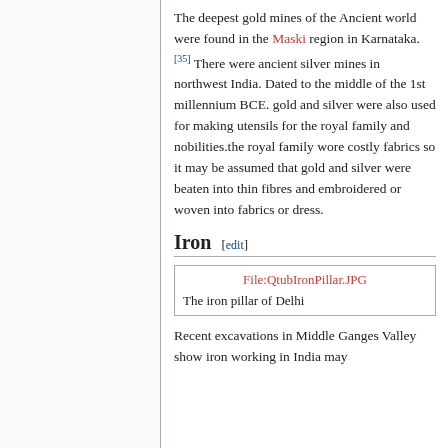The deepest gold mines of the Ancient world were found in the Maski region in Karnataka.[35] There were ancient silver mines in northwest India. Dated to the middle of the 1st millennium BCE. gold and silver were also used for making utensils for the royal family and nobilities.the royal family wore costly fabrics so it may be assumed that gold and silver were beaten into thin fibres and embroidered or woven into fabrics or dress.
Iron [edit]
[Figure (other): Image placeholder box showing 'File:QtubIronPillar.JPG' as a red link and caption 'The iron pillar of Delhi']
The iron pillar of Delhi
Recent excavations in Middle Ganges Valley show iron working in India may